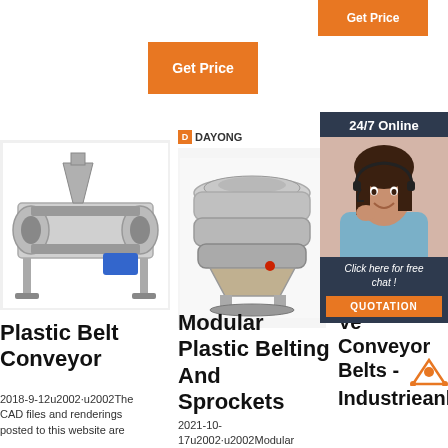[Figure (other): Orange 'Get Price' button top right]
[Figure (other): Orange 'Get Price' button center top]
[Figure (other): 24/7 Online chat widget with woman wearing headset]
[Figure (photo): Plastic Belt Conveyor machine photo]
[Figure (photo): Modular vibrating sieve/screen machine with DAYONG logo]
Plastic Belt Conveyor
Modular Plastic Belting And Sprockets
Ve Conveyor Belts - MINDA Industrieanl GmbH
2018-9-12u2002·u2002The CAD files and renderings posted to this website are
2021-10-17u2002·u2002Modular